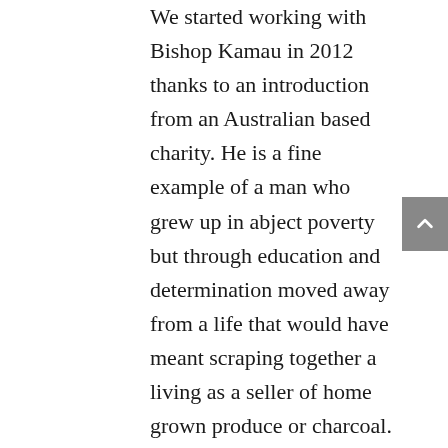We started working with Bishop Kamau in 2012 thanks to an introduction from an Australian based charity. He is a fine example of a man who grew up in abject poverty but through education and determination moved away from a life that would have meant scraping together a living as a seller of home grown produce or charcoal. After studying in Nairobi and the United States he returned and turned his talents towards helping many communities in a number of African countries.  Francis took us to the grounds of a church in Village #4 Ndeiya where we met some of our previous bicycles recipients and gave away another 40 bikes. It is important to us to